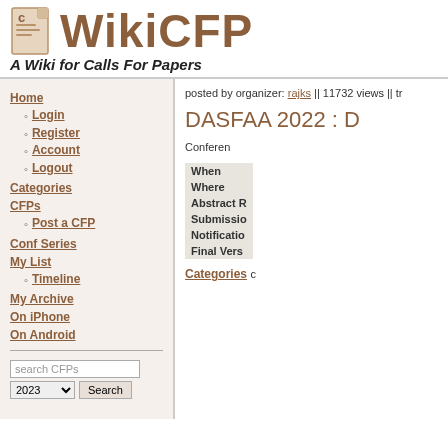[Figure (logo): WikiCFP logo with document icon and brown text]
A Wiki for Calls For Papers
Home
Login
Register
Account
Logout
Categories
CFPs
Post a CFP
Conf Series
My List
Timeline
My Archive
On iPhone
On Android
posted by organizer: rajks || 11732 views || tr
DASFAA 2022 : D
Conferen
| Field | Value |
| --- | --- |
| When |  |
| Where |  |
| Abstract R |  |
| Submissio |  |
| Notificatio |  |
| Final Vers |  |
Categories c